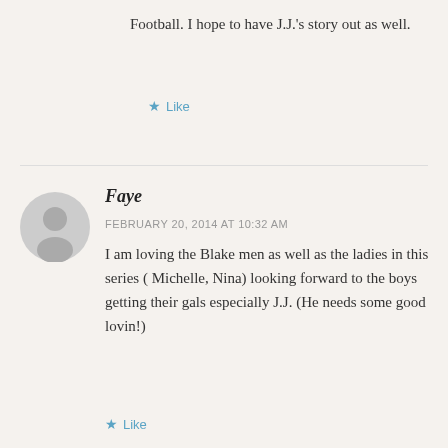Football. I hope to have J.J.'s story out as well.
★ Like
Faye
FEBRUARY 20, 2014 AT 10:32 AM
I am loving the Blake men as well as the ladies in this series ( Michelle, Nina) looking forward to the boys getting their gals especially J.J. (He needs some good lovin!)
★ Like